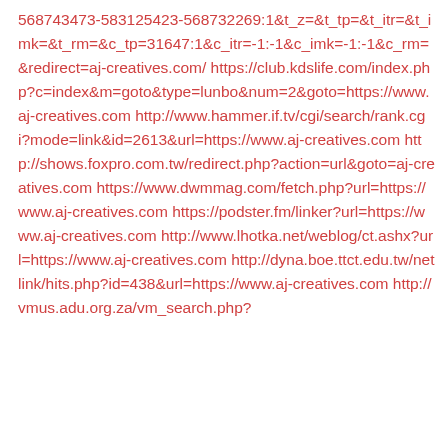568743473-583125423-568732269:1&t_z=&t_tp=&t_itr=&t_imk=&t_rm=&c_tp=31647:1&c_itr=-1:-1&c_imk=-1:-1&c_rm=&redirect=aj-creatives.com/ https://club.kdslife.com/index.php?c=index&m=goto&type=lunbo&num=2&goto=https://www.aj-creatives.com http://www.hammer.if.tv/cgi/search/rank.cgi?mode=link&id=2613&url=https://www.aj-creatives.com http://shows.foxpro.com.tw/redirect.php?action=url&goto=aj-creatives.com https://www.dwmmag.com/fetch.php?url=https://www.aj-creatives.com https://podster.fm/linker?url=https://www.aj-creatives.com http://www.lhotka.net/weblog/ct.ashx?url=https://www.aj-creatives.com http://dyna.boe.ttct.edu.tw/netlink/hits.php?id=438&url=https://www.aj-creatives.com http://vmus.adu.org.za/vm_search.php?